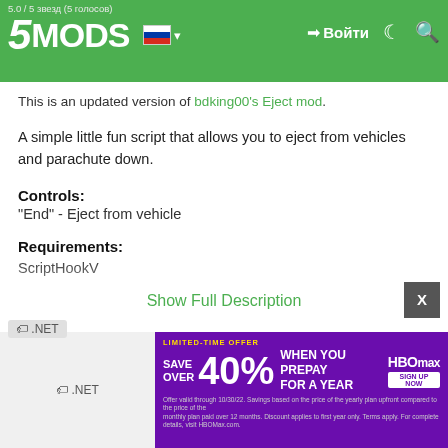5MODS — Войти — [Russian flag] — [moon icon] — [search icon]
5.0 / 5 звезд (5 голосов)
This is an updated version of bdking00's Eject mod.
A simple little fun script that allows you to eject from vehicles and parachute down.
Controls:
"End" - Eject from vehicle
Requirements:
ScriptHookV
ScriptHookVDotNet
Installation:
Drag and drop the dll, ini, and wav files into your scripts folder
Customizations in INI file:
Show Full Description
[Figure (infographic): HBO Max advertisement banner: LIMITED-TIME OFFER — SAVE OVER 40% WHEN YOU PREPAY FOR A YEAR — HBO max logo — fine print text]